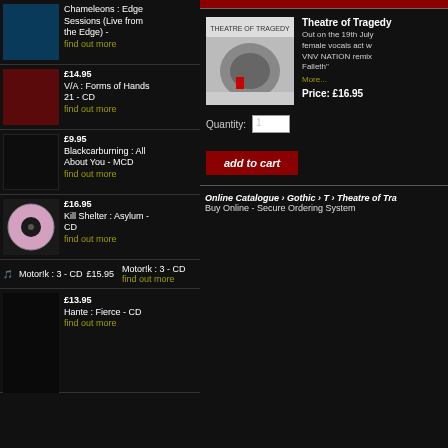Chameleons : Edge Sessions (Live from the Edge) - find out more
£14.95 V/A : Forms of Hands 21 - CD find out more
£9.95 Blackcarburning : All About You - MCD find out more
£16.95 Kill Shelter : Asylum - CD find out more
Motor!k : 3 - CD £15.95 Motor!k : 3 - CD find out more
£13.95 Hante : Fierce - CD find out more
Theatre of Tragedy
Out on the 19th July female vocals act w VNV NATION remix Falleth"
More...
Price: £16.95
Quantity: 1
add to cart
Online Catalogue › Gothic › T › Theatre of Tra Buy Online - Secure Ordering System